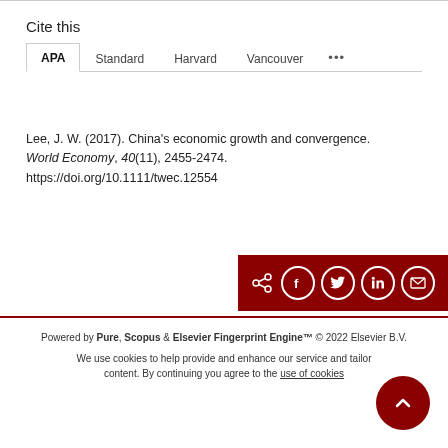Cite this
APA  Standard  Harvard  Vancouver  •••
Lee, J. W. (2017). China's economic growth and convergence. World Economy, 40(11), 2455-2474. https://doi.org/10.1111/twec.12554
[Figure (other): Share bar with social media icons: share arrow, Facebook, Twitter, LinkedIn, email on dark red background]
Powered by Pure, Scopus & Elsevier Fingerprint Engine™ © 2022 Elsevier B.V.
We use cookies to help provide and enhance our service and tailor content. By continuing you agree to the use of cookies